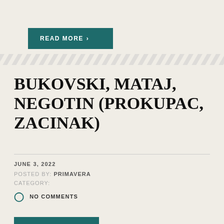READ MORE >
[Figure (other): Diagonal stripe divider pattern]
BUKOVSKI, MATAJ, NEGOTIN (PROKUPAC, ZACINAK)
JUNE 3, 2022
POSTED BY: PRIMAVERA
CATEGORY:
NO COMMENTS